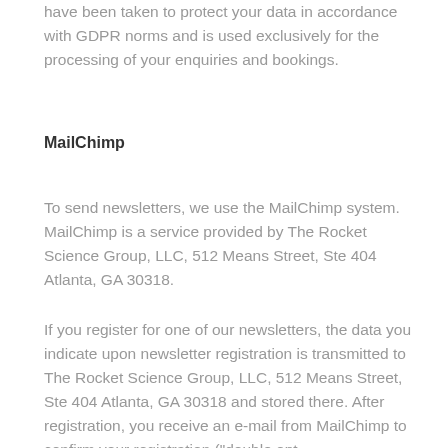have been taken to protect your data in accordance with GDPR norms and is used exclusively for the processing of your enquiries and bookings.
MailChimp
To send newsletters, we use the MailChimp system. MailChimp is a service provided by The Rocket Science Group, LLC, 512 Means Street, Ste 404 Atlanta, GA 30318.
If you register for one of our newsletters, the data you indicate upon newsletter registration is transmitted to The Rocket Science Group, LLC, 512 Means Street, Ste 404 Atlanta, GA 30318 and stored there. After registration, you receive an e-mail from MailChimp to confirm your registration ("double opt-